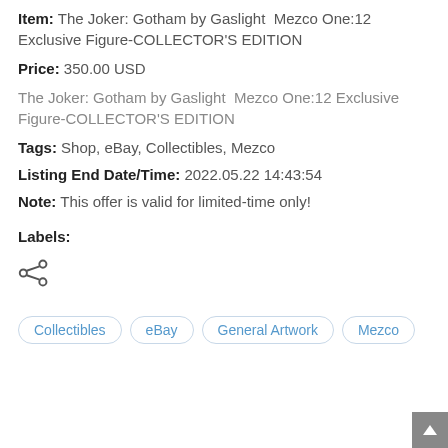Item: The Joker: Gotham by Gaslight  Mezco One:12 Exclusive Figure-COLLECTOR'S EDITION
Price: 350.00 USD
The Joker: Gotham by Gaslight  Mezco One:12 Exclusive Figure-COLLECTOR'S EDITION
Tags: Shop, eBay, Collectibles, Mezco
Listing End Date/Time: 2022.05.22 14:43:54
Note: This offer is valid for limited-time only!
Labels:
[Figure (illustration): Share icon (less-than symbol with dots)]
Collectibles
eBay
General Artwork
Mezco